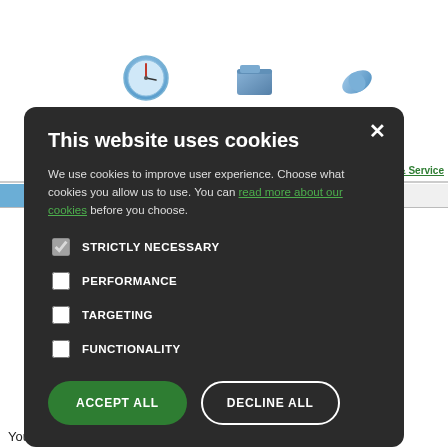[Figure (screenshot): Background of a medical/health website showing navigation bar with 'Clinics & Services' green link, sub-navigation with 'Services' and 'Find Service' tabs, and some body text about work including disease prevention. Icons visible at top.]
This website uses cookies
We use cookies to improve user experience. Choose what cookies you allow us to use. You can read more about our cookies before you choose.
STRICTLY NECESSARY
PERFORMANCE
TARGETING
FUNCTIONALITY
ACCEPT ALL
DECLINE ALL
Your team of midwives carry out antenatal care at The Children's